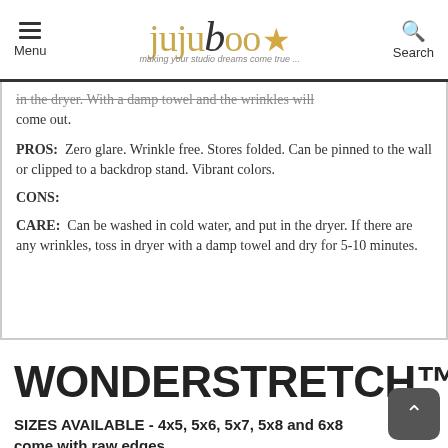Menu | jujuboo - making your studio dreams come true... | Search
in the dryer. With a damp towel and the wrinkles will come out.
PROS: Zero glare. Wrinkle free. Stores folded. Can be pinned to the wall or clipped to a backdrop stand. Vibrant colors.
CONS:
CARE: Can be washed in cold water, and put in the dryer. If there are any wrinkles, toss in dryer with a damp towel and dry for 5-10 minutes.
WONDERSTRETCH™ FA
SIZES AVAILABLE - 4x5, 5x6, 5x7, 5x8 and 6x8 come with raw edges